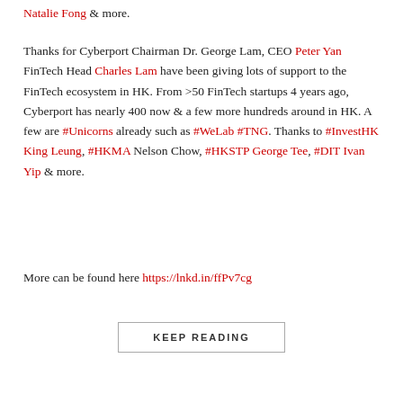Natalie Fong & more.
Thanks for Cyberport Chairman Dr. George Lam, CEO Peter Yan FinTech Head Charles Lam have been giving lots of support to the FinTech ecosystem in HK. From >50 FinTech startups 4 years ago, Cyberport has nearly 400 now & a few more hundreds around in HK. A few are #Unicorns already such as #WeLab #TNG. Thanks to #InvestHK King Leung, #HKMA Nelson Chow, #HKSTP George Tee, #DIT Ivan Yip & more.
More can be found here https://lnkd.in/ffPv7cg
KEEP READING